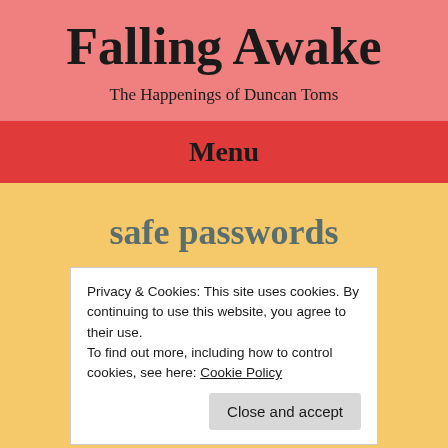Falling Awake
The Happenings of Duncan Toms
Menu
safe passwords
Privacy & Cookies: This site uses cookies. By continuing to use this website, you agree to their use.
To find out more, including how to control cookies, see here: Cookie Policy
Close and accept